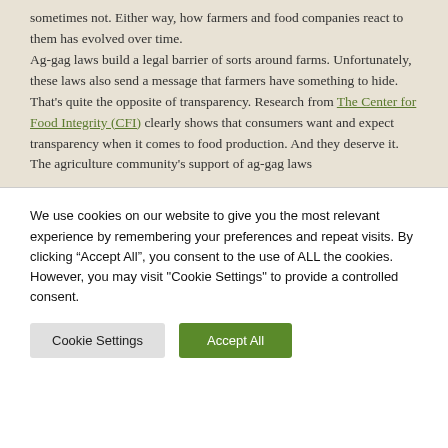sometimes not. Either way, how farmers and food companies react to them has evolved over time.
Ag-gag laws build a legal barrier of sorts around farms. Unfortunately, these laws also send a message that farmers have something to hide. That's quite the opposite of transparency. Research from The Center for Food Integrity (CFI) clearly shows that consumers want and expect transparency when it comes to food production. And they deserve it.
The agriculture community's support of ag-gag laws
We use cookies on our website to give you the most relevant experience by remembering your preferences and repeat visits. By clicking “Accept All”, you consent to the use of ALL the cookies. However, you may visit "Cookie Settings" to provide a controlled consent.